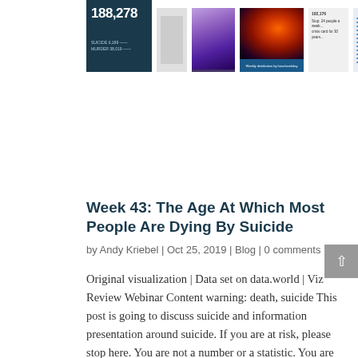[Figure (screenshot): Thumbnail strip of blog post preview images including a navy infographic with '188,278', a gray text thumbnail, a purple gradient image, a heatmap visualization, a text block thumbnail, and a blue striped thumbnail]
Week 43: The Age At Which Most People Are Dying By Suicide
by Andy Kriebel | Oct 25, 2019 | Blog | 0 comments
Original visualization | Data set on data.world | Viz Review Webinar Content warning: death, suicide This post is going to discuss suicide and information presentation around suicide. If you are at risk, please stop here. You are not a number or a statistic. You are